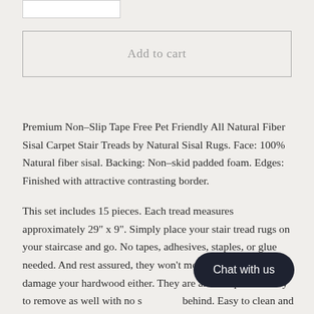Add to cart
Premium Non-Slip Tape Free Pet Friendly All Natural Fiber Sisal Carpet Stair Treads by Natural Sisal Rugs. Face: 100% Natural fiber sisal. Backing: Non-skid padded foam. Edges: Finished with attractive contrasting border.
This set includes 15 pieces. Each tread measures approximately 29" x 9". Simply place your stair tread rugs on your staircase and go. No tapes, adhesives, staples, or glue needed. And rest assured, they won't move and they won't damage your hardwood either. They are also simple and easy to remove as well with no s... behind. Easy to clean and vacuum. Hel... on your hardwood stairs. Great for helping your dog easily